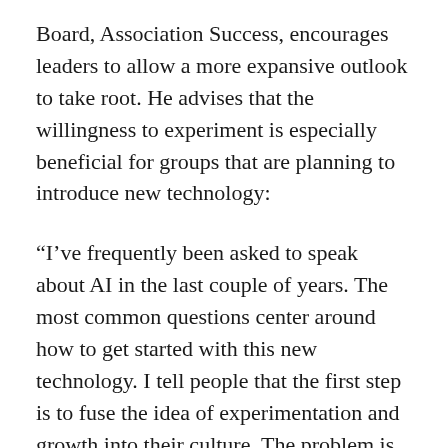Board, Association Success, encourages leaders to allow a more expansive outlook to take root. He advises that the willingness to experiment is especially beneficial for groups that are planning to introduce new technology:
“I’ve frequently been asked to speak about AI in the last couple of years. The most common questions center around how to get started with this new technology. I tell people that the first step is to fuse the idea of experimentation and growth into their culture. The problem is that association staff often worry about failure more than anything else. They’re afraid that if they try